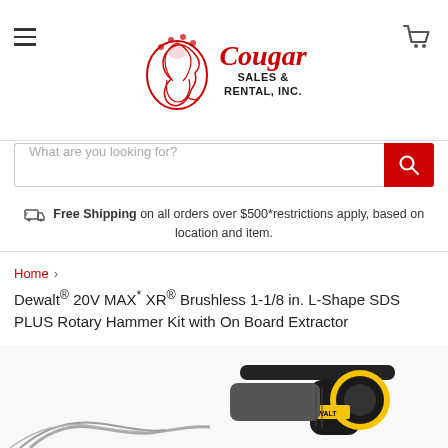[Figure (logo): Cougar Sales & Rental, Inc. logo with red cougar mascot illustration and stylized text]
What are you looking for?
Free Shipping on all orders over $500*restrictions apply, based on location and item.
Home > Dewalt® 20V MAX* XR® Brushless 1-1/8 in. L-Shape SDS PLUS Rotary Hammer Kit with On Board Extractor
[Figure (photo): DeWalt 20V MAX XR Brushless L-Shape SDS PLUS Rotary Hammer Kit product photo showing yellow and black power tool]